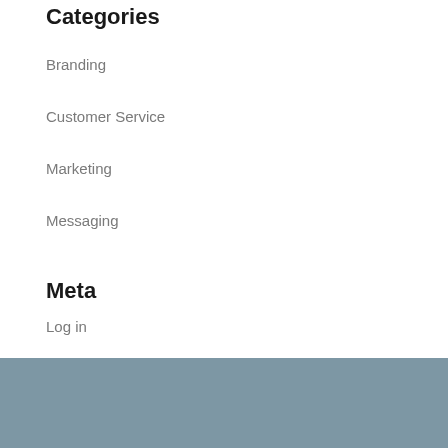Categories
Branding
Customer Service
Marketing
Messaging
Meta
Log in
Entries feed
Comments feed
WordPress.org